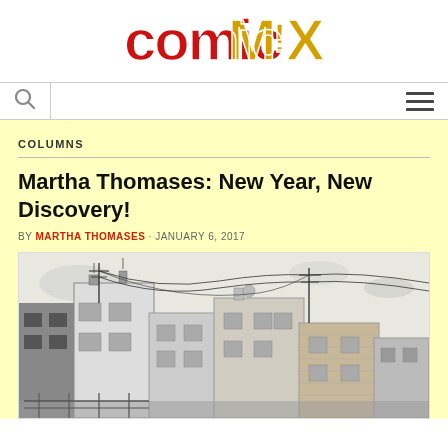ComicMix
COLUMNS
Martha Thomases: New Year, New Discovery!
BY MARTHA THOMASES · JANUARY 6, 2017
[Figure (illustration): Black and white ink illustration of urban rooftops showing buildings with utility wires strung between them, in a sketchy comic art style]